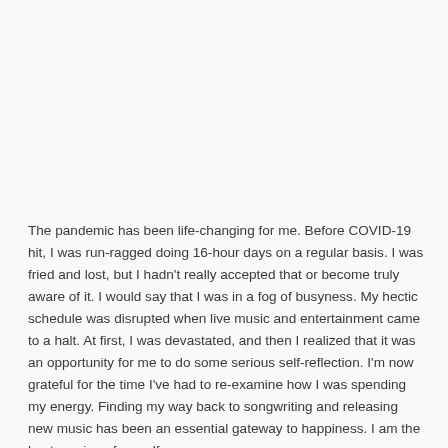The pandemic has been life-changing for me. Before COVID-19 hit, I was run-ragged doing 16-hour days on a regular basis. I was fried and lost, but I hadn't really accepted that or become truly aware of it. I would say that I was in a fog of busyness. My hectic schedule was disrupted when live music and entertainment came to a halt. At first, I was devastated, and then I realized that it was an opportunity for me to do some serious self-reflection. I'm now grateful for the time I've had to re-examine how I was spending my energy. Finding my way back to songwriting and releasing new music has been an essential gateway to happiness. I am the best version of myself as